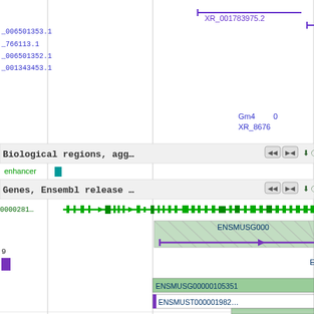[Figure (screenshot): Genome browser screenshot showing biological regions track and Ensembl genes track. Left panel shows accession numbers _006501353.1, _766113.1, _006501352.1, _001343453.1. Top area shows XR_001783975.2 transcript. Right area shows Gm40, XR_8676 labels. Biological regions track labeled 'Biological regions, agg...' with enhancer marker. Genes Ensembl release track labeled 'Genes, Ensembl release ...' with gene 0000281... shown as green arrow track. ENSMUSG000 gene shown as teal/green hatched block with purple line at bottom. ENSMUSG00000105351 and ENSMUST000001982... labels shown. Lower right shows ENSMUS labels with purple rectangle. Bottom of page shows partial track elements.]